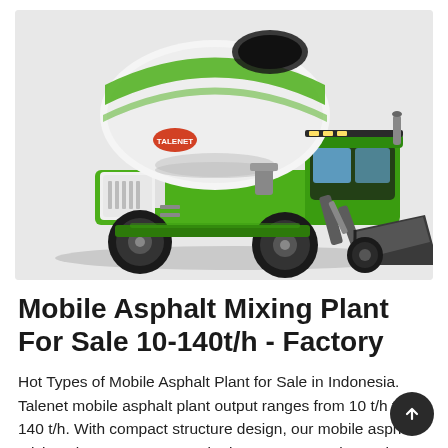[Figure (photo): A green and white self-loading concrete/asphalt mixer truck with large black tires and a front loading bucket, photographed on a light grey background.]
Mobile Asphalt Mixing Plant For Sale 10-140t/h - Factory
Hot Types of Mobile Asphalt Plant for Sale in Indonesia. Talenet mobile asphalt plant output ranges from 10 t/h to 140 t/h. With compact structure design, our mobile asphalt mixing plants are very popular in overseas markets. The modular design ensures our mobile asphalt batch